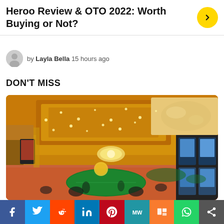Heroo Review & OTO 2022: Worth Buying or Not?
by Layla Bella 15 hours ago
DON'T MISS
[Figure (photo): Interior of a luxury casino with ornate gold ceiling, chandeliers, gaming tables, slot machines, and decorative murals]
Social share bar: Facebook, Twitter, Reddit, LinkedIn, Pinterest, MixedWeeds, Mix, WhatsApp, Share